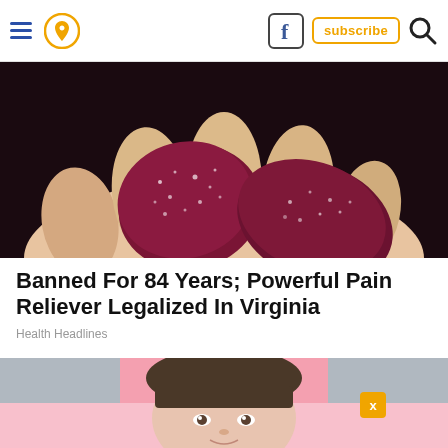Navigation bar with hamburger menu, location pin icon, Facebook icon, subscribe button, and search icon
[Figure (photo): Close-up photo of a hand holding dark red/purple sugar-coated gummy candies]
Banned For 84 Years; Powerful Pain Reliever Legalized In Virginia
Health Headlines
[Figure (photo): Photo of a young woman with brown hair and bangs against a pink background, partially obscured by an advertisement overlay with an X close button]